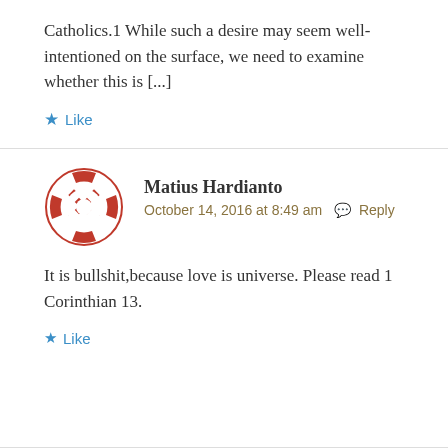Catholics.1 While such a desire may seem well-intentioned on the surface, we need to examine whether this is [...]
★ Like
Matius Hardianto
October 14, 2016 at 8:49 am  ✉ Reply
It is bullshit,because love is universe. Please read 1 Corinthian 13.
★ Like